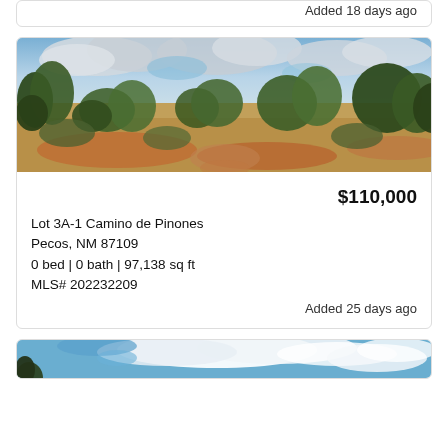Added 18 days ago
[Figure (photo): Landscape photo of a dry scrubland lot with low shrubs and juniper trees under a cloudy sky, in New Mexico]
$110,000
Lot 3A-1 Camino de Pinones
Pecos, NM 87109
0 bed | 0 bath | 97,138 sq ft
MLS# 202232209
Added 25 days ago
[Figure (photo): Partial landscape photo showing blue sky with white clouds and a tree silhouette at bottom left]